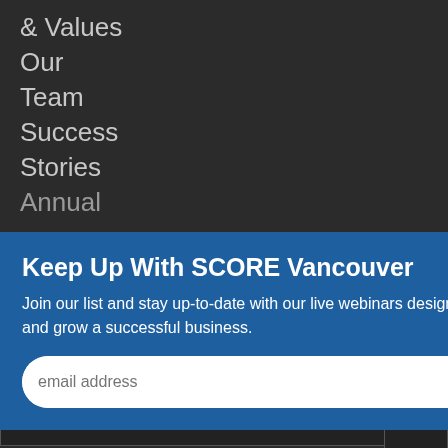& Values
Our
Team
Success
Stories
Annual
Keep Up With SCORE Vancouver
Join our list and stay up-to-date with our live webinars designed to help you start and grow a successful business.
ne a
eer >
Partner
Volunteer